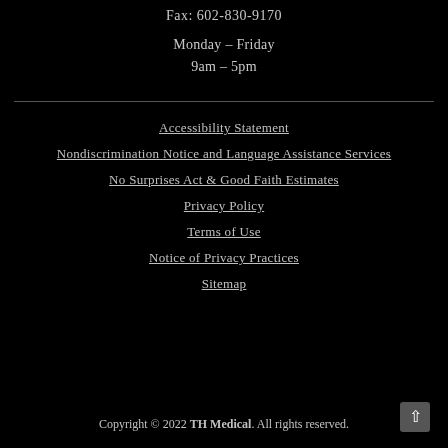Fax: 602-830-9170
Monday – Friday
9am – 5pm
Accessibility Statement
Nondiscrimination Notice and Language Assistance Services
No Surprises Act & Good Faith Estimates
Privacy Policy
Terms of Use
Notice of Privacy Practices
Sitemap
Copyright © 2022 TH Medical. All rights reserved.